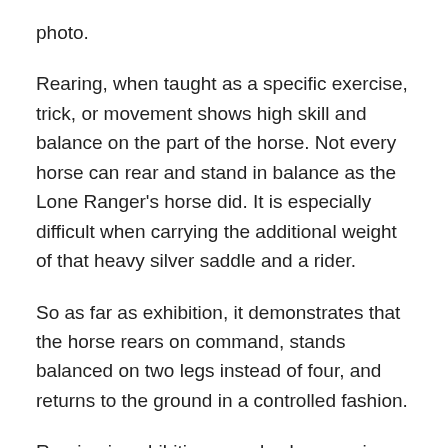photo.
Rearing, when taught as a specific exercise, trick, or movement shows high skill and balance on the part of the horse. Not every horse can rear and stand in balance as the Lone Ranger's horse did. It is especially difficult when carrying the additional weight of that heavy silver saddle and a rider.
So as far as exhibition, it demonstrates that the horse rears on command, stands balanced on two legs instead of four, and returns to the ground in a controlled fashion.
Rearing in exhibition can also be seen in many circuses and is a part of high level dressage training and exhibition as demonstrated by the Lipizzaner horses, most notably those of Vienna.